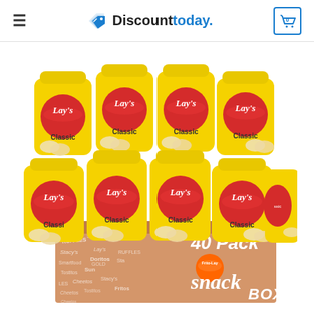Discounttoday. [hamburger menu] [cart icon: 0]
[Figure (photo): A box of 40-pack Frito-Lay Lay's Classic potato chips snack box with 8 individual yellow Lay's Classic chip bags visible stacked in two rows on top of a branded cardboard snack box that reads '40 Pack snack BOX'.]